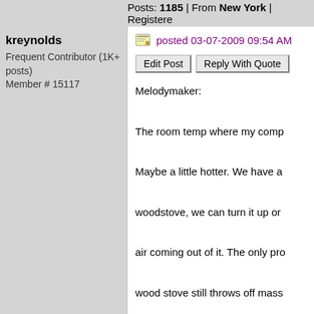Posts: 1185 | From New York | Registere
kreynolds
Frequent Contributor (1K+ posts)
Member # 15117
posted 03-07-2009 09:54 AM
Edit Post | Reply With Quote
Melodymaker:

The room temp where my comp

Maybe a little hotter. We have a

woodstove, we can turn it up or

air coming out of it. The only pro

wood stove still throws off mass

not to spend most of my time in

winter. I'm a Lymie though and h

computer, we all need the comp

thanks again for your response!

-Roy